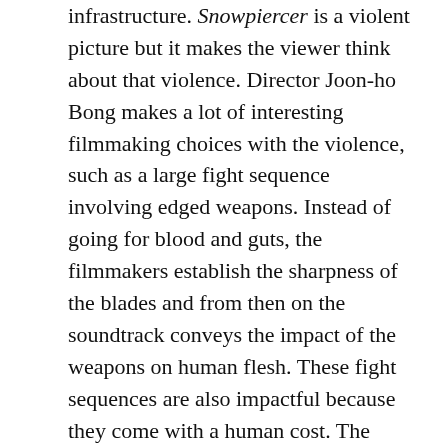infrastructure. Snowpiercer is a violent picture but it makes the viewer think about that violence. Director Joon-ho Bong makes a lot of interesting filmmaking choices with the violence, such as a large fight sequence involving edged weapons. Instead of going for blood and guts, the filmmakers establish the sharpness of the blades and from then on the soundtrack conveys the impact of the weapons on human flesh. These fight sequences are also impactful because they come with a human cost. The problem of so many contemporary action movies, such as the Transformers series and some comic book films like Man of Steel, is that there is a lot of destruction but no humanity and so nothing is ever at stake. The revolution of Snowpiercer requires sacrifice and characters are forced to make choices between saving their comrades and the good of the revolution and that gives the movie substance. For this kind of high concept action movie, Snowpiercer has some notable